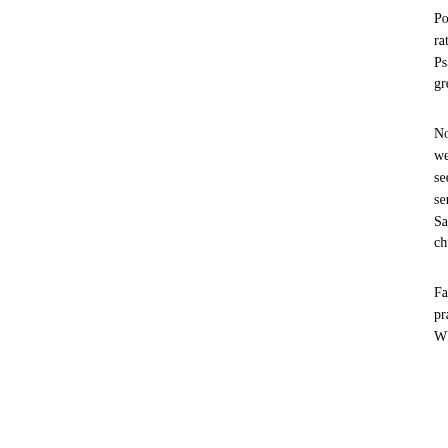Possibly they may have been over-strict; very often forgot and let out a little whistle on the holy day, looked round rather expecting the heavens to fall, strictly religious were put away. The Bible, the Doddridge's Rise and Progress, Watts Psalms allowable. Bunyan's Pilgrim's Progress was p certain that nearly everyone of our current rel and by far the greater part of the books found i
No matter how busy the season nor how hard t evening everything came to a full stop, and preparations for the day were made beforeha sacred day. My grandfather and my father alwa as once in all their long lives did either of them seen any one in that community at any kind of young minister in Wisconsin, I saw a picnic go where I was holding service on the Lord's Day anything of that kind. Once a pious neighbor of on the Sabbath morning, thinking it was Satu learning his mistake he was like to have had a been caught stealing sheep. Swiftly he drove rushed to the church in his working garb, his h mouth full of explanations and apologies. He w ever forgave himself.
Family worship every morning and evening was There was the reading of a full chapter howeve a comprehensive prayer, all devoutly kneeling that Robert Burns, wild and dissipated as he lyric, "The Cotter's Saturday Night." What holy